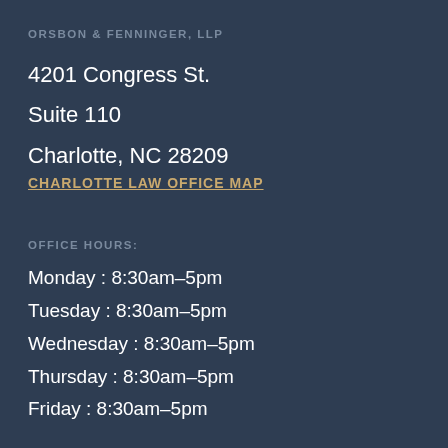ORSBON & FENNINGER, LLP
4201 Congress St.
Suite 110
Charlotte, NC 28209
CHARLOTTE LAW OFFICE MAP
OFFICE HOURS:
Monday : 8:30am–5pm
Tuesday : 8:30am–5pm
Wednesday : 8:30am–5pm
Thursday : 8:30am–5pm
Friday : 8:30am–5pm